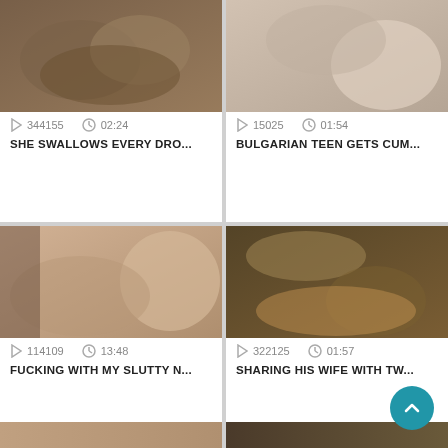[Figure (screenshot): Video thumbnail 1 - adult content]
344155   02:24
SHE SWALLOWS EVERY DRO...
[Figure (screenshot): Video thumbnail 2 - adult content]
15025   01:54
BULGARIAN TEEN GETS CUM...
[Figure (screenshot): Video thumbnail 3 - adult content]
114109   13:48
FUCKING WITH MY SLUTTY N...
[Figure (screenshot): Video thumbnail 4 - adult content]
322125   01:57
SHARING HIS WIFE WITH TW...